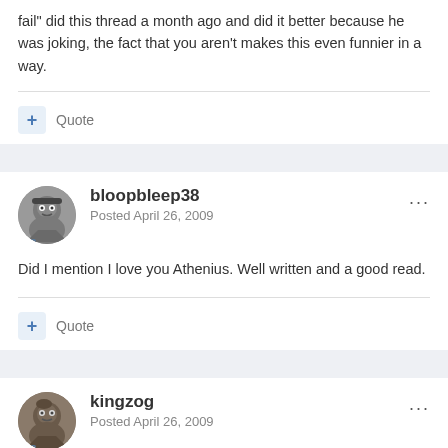fail" did this thread a month ago and did it better because he was joking, the fact that you aren't makes this even funnier in a way.
+ Quote
bloopbleep38
Posted April 26, 2009
Did I mention I love you Athenius. Well written and a good read.
+ Quote
kingzog
Posted April 26, 2009